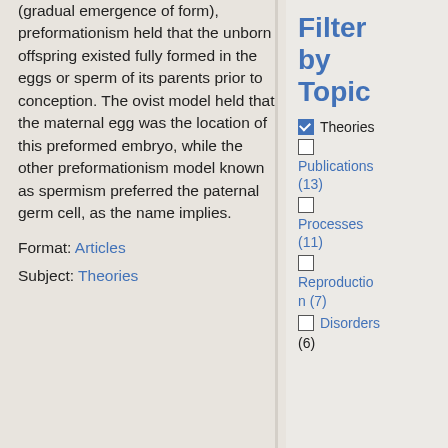(gradual emergence of form), preformationism held that the unborn offspring existed fully formed in the eggs or sperm of its parents prior to conception. The ovist model held that the maternal egg was the location of this preformed embryo, while the other preformationism model known as spermism preferred the paternal germ cell, as the name implies.
Format: Articles
Subject: Theories
Filter by Topic
✓ Theories
Publications (13)
Processes (11)
Reproduction (7)
Disorders (6)